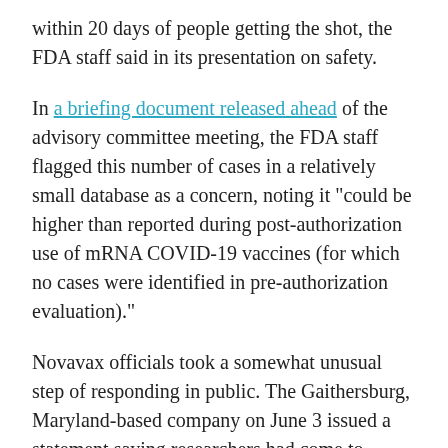within 20 days of people getting the shot, the FDA staff said in its presentation on safety.
In a briefing document released ahead of the advisory committee meeting, the FDA staff flagged this number of cases in a relatively small database as a concern, noting it “could be higher than reported during post-authorization use of mRNA COVID-19 vaccines (for which no cases were identified in pre-authorization evaluation).”
Novavax officials took a somewhat unusual step of responding in public. The Gaithersburg, Maryland-based company on June 3 issued a statement saying researchers had come to “expect to see natural background events of myocarditis in any sufficiently large database, and that young males are at higher risk.”